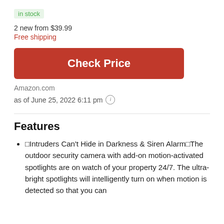in stock
2 new from $39.99
Free shipping
[Figure (other): Red 'Check Price' button]
Amazon.com
as of June 25, 2022 6:11 pm ℹ
Features
🔲Intruders Can't Hide in Darkness & Siren Alarm🔲The outdoor security camera with add-on motion-activated spotlights are on watch of your property 24/7. The ultra-bright spotlights will intelligently turn on when motion is detected so that you can